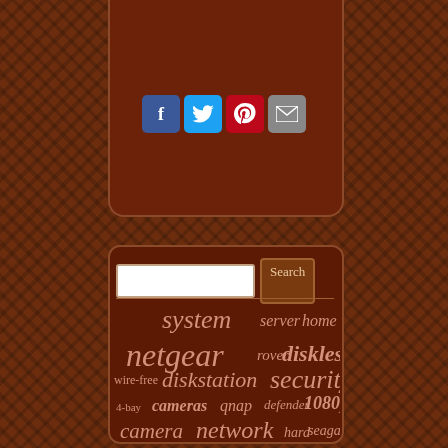[Figure (screenshot): Woven basket texture background in dark brown tones]
[Figure (infographic): Social share icons: Facebook (blue), Twitter (light blue), Pinterest (red), Email (grey)]
[Figure (infographic): Search bar with text input field and Search button]
[Figure (infographic): Tag cloud with words: system, server, home, netgear, rover, diskless, wire-free, diskstation, security, 4-bay, cameras, qnap, defender, 1080p, camera, network, hard, seagate, wireless, attached, wifi, orbi, land, drives, router, tri-band, drive]